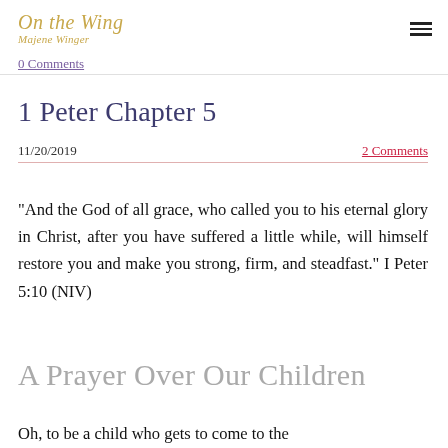On the Wing — Majene Winger
0 Comments
1 Peter Chapter 5
11/20/2019
2 Comments
“And the God of all grace, who called you to his eternal glory in Christ, after you have suffered a little while, will himself restore you and make you strong, firm, and steadfast.” I Peter 5:10 (NIV)
A Prayer Over Our Children
Oh, to be a child who gets to come to the